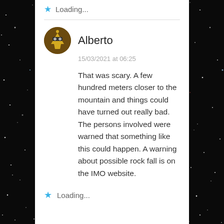Loading...
Alberto
15/03/2021 at 06:25
That was scary. A few hundred meters closer to the mountain and things could have turned out really bad. The persons involved were warned that something like this could happen. A warning about possible rock fall is on the IMO website.
Loading...